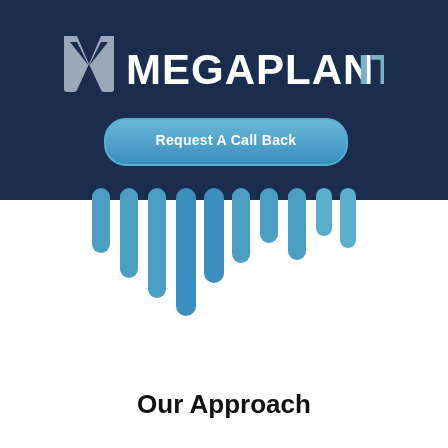[Figure (logo): MegaPlanIT logo — white M icon followed by MEGAPLAN in white and IT in blue/grey, on dark navy background]
[Figure (illustration): Button labeled 'Request A Call Back' with rounded rectangle shape, light blue gradient, on dark navy background]
[Figure (illustration): Blue dripping bars / drip graphic hanging below the dark navy header band]
Our Approach